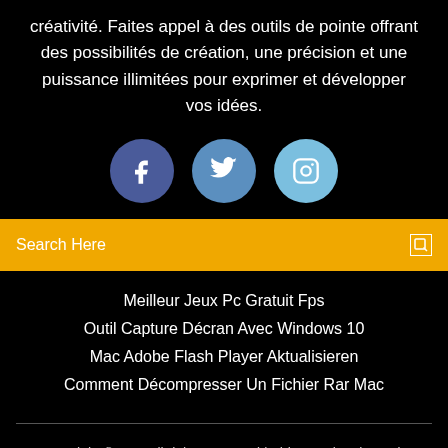créativité. Faites appel à des outils de pointe offrant des possibilités de création, une précision et une puissance illimitées pour exprimer et développer vos idées.
[Figure (illustration): Three social media circles: Facebook (dark blue), Twitter (medium blue), Instagram (light blue) with white icons]
Search Here
Meilleur Jeux Pc Gratuit Fps
Outil Capture Décran Avec Windows 10
Mac Adobe Flash Player Aktualisieren
Comment Décompresser Un Fichier Rar Mac
Copyright ©2022 All rights reserved | This template is made with ♡ by Colorlib